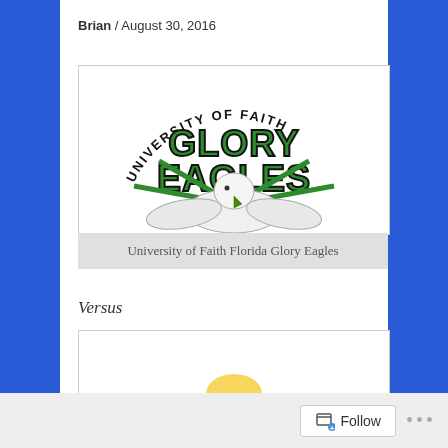Brian / August 30, 2016
[Figure (logo): University of Faith Florida Glory Eagles logo: bald eagle mascot with wings spread, green 'GLORY EAGLES' text in bold block letters, 'UNIVERSITY OF FAITH' arched above in black text, green lightning bolt rays behind the eagle.]
University of Faith Florida Glory Eagles
Versus
[Figure (photo): Partially visible second logo/image, cropped at bottom of page.]
Follow